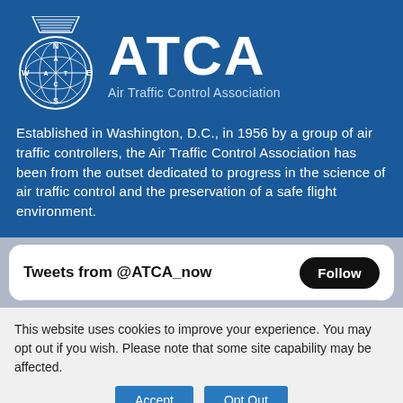[Figure (logo): ATCA Air Traffic Control Association logo — circular emblem with compass directions and globe motif, above which sits a trapezoid/funnel shape with horizontal lines, in white outline style on blue background]
ATCA
Air Traffic Control Association
Established in Washington, D.C., in 1956 by a group of air traffic controllers, the Air Traffic Control Association has been from the outset dedicated to progress in the science of air traffic control and the preservation of a safe flight environment.
Tweets from @ATCA_now
Follow
This website uses cookies to improve your experience. You may opt out if you wish. Please note that some site capability may be affected.
Accept
Opt Out